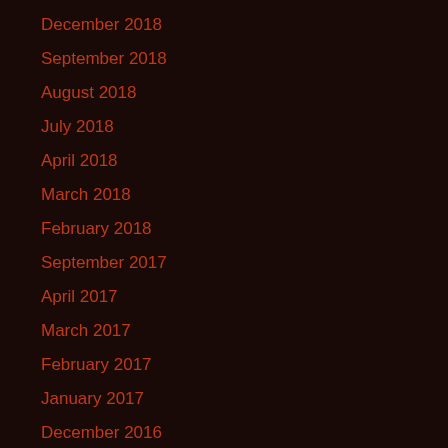December 2018
September 2018
August 2018
July 2018
April 2018
March 2018
February 2018
September 2017
April 2017
March 2017
February 2017
January 2017
December 2016
November 2016
October 2016